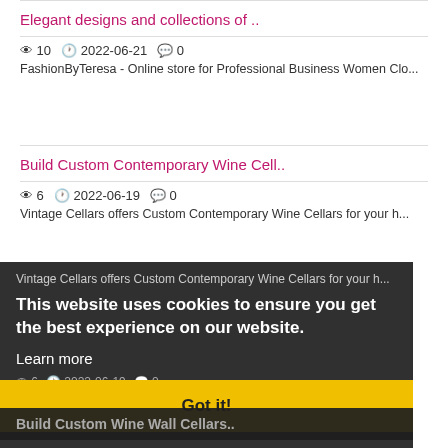Elegant designs and collections of ..
👁 10  🕐 2022-06-21  💬 0
FashionByTeresa - Online store for Professional Business Women Clo...
Build Custom Contemporary Wine Cell..
👁 6  🕐 2022-06-19  💬 0
Vintage Cellars offers Custom Contemporary Wine Cellars for your h...
Vintage Cellars offers Custom Contemporary Wine Cellars for your h...
This website uses cookies to ensure you get the best experience on our website.
Learn more
👁 6  🕐 2022-06-19  💬 0
Vintage Cellars offers Custom Glass-Enclosed Wine Cellars for your...
Got it!
Build Custom Wine Wall Cellars..